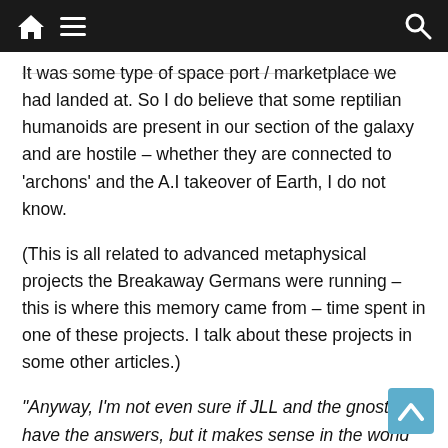Navigation bar with home, menu, and search icons
It was some type of space port / marketplace we had landed at. So I do believe that some reptilian humanoids are present in our section of the galaxy and are hostile – whether they are connected to 'archons' and the A.I takeover of Earth, I do not know.
(This is all related to advanced metaphysical projects the Breakaway Germans were running – this is where this memory came from – time spent in one of these projects. I talk about these projects in some other articles.)
“Anyway, I’m not even sure if JLL and the gnostics have the answers, but it makes sense in the world we inhabit today. Especially considering the AI transhumance agenda and the fact that their (((proxies))) on earth are in control of things”